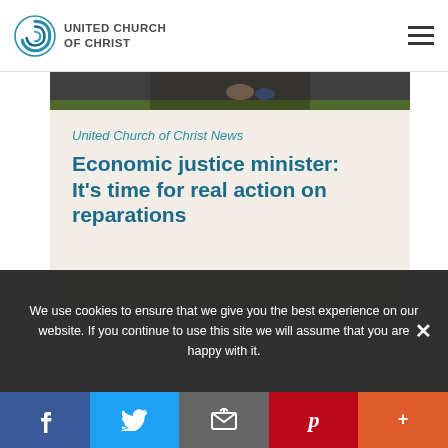UNITED CHURCH OF CHRIST
[Figure (photo): Cropped photo of people's feet on ground, partially visible]
United Church of Christ News
Economic justice minister: It's time for real action on reparations
We use cookies to ensure that we give you the best experience on our website. If you continue to use this site we will assume that you are happy with it.
f  Twitter  Email  P  +